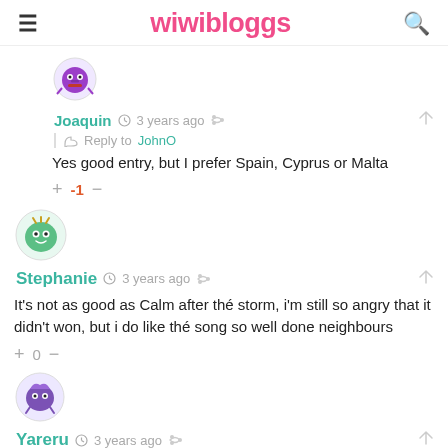wiwibloggs
[Figure (illustration): Purple monster avatar for user Joaquin]
Joaquin  3 years ago   Reply to JohnO   Yes good entry, but I prefer Spain, Cyprus or Malta   -1
[Figure (illustration): Green monster avatar for user Stephanie]
Stephanie  3 years ago   It's not as good as Calm after thé storm, i'm still so angry that it didn't won, but i do like thé song so well done neighbours   0
[Figure (illustration): Purple flower/bug avatar for user Yareru]
Yareru  3 years ago   I've listened to the song for over more than 40 times now and